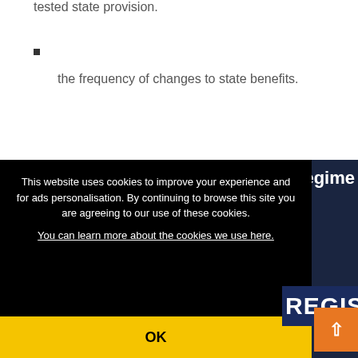tested state provision.
the frequency of changes to state benefits.
egime
This website uses cookies to improve your experience and for ads personalisation. By continuing to browse this site you are agreeing to our use of these cookies. You can learn more about the cookies we use here.
OK
REGIS